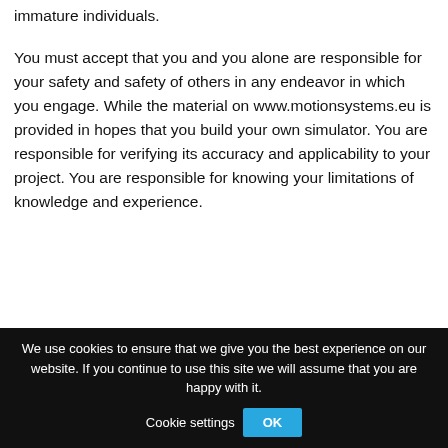immature individuals.
You must accept that you and you alone are responsible for your safety and safety of others in any endeavor in which you engage. While the material on www.motionsystems.eu is provided in hopes that you build your own simulator. You are responsible for verifying its accuracy and applicability to your project. You are responsible for knowing your limitations of knowledge and experience.
We use cookies to ensure that we give you the best experience on our website. If you continue to use this site we will assume that you are happy with it.  Cookie settings  OK